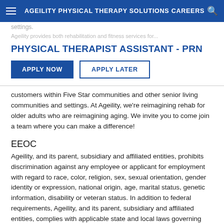AGEILITY PHYSICAL THERAPY SOLUTIONS CAREERS
settings.
PHYSICAL THERAPIST ASSISTANT - PRN
APPLY NOW   APPLY LATER
customers within Five Star communities and other senior living communities and settings. At Ageility, we're reimagining rehab for older adults who are reimagining aging. We invite you to come join a team where you can make a difference!
EEOC
Ageility, and its parent, subsidiary and affiliated entities, prohibits discrimination against any employee or applicant for employment with regard to race, color, religion, sex, sexual orientation, gender identity or expression, national origin, age, marital status, genetic information, disability or veteran status. In addition to federal requirements, Ageility, and its parent, subsidiary and affiliated entities, complies with applicable state and local laws governing